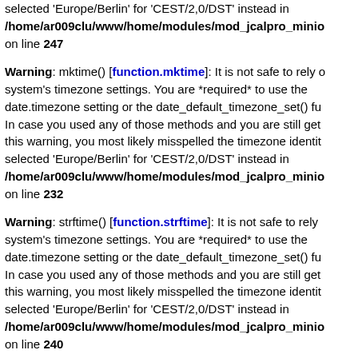selected 'Europe/Berlin' for 'CEST/2,0/DST' instead in /home/ar009clu/www/home/modules/mod_jcalpro_minio on line 247
Warning: mktime() [function.mktime]: It is not safe to rely on the system's timezone settings. You are *required* to use the date.timezone setting or the date_default_timezone_set() function. In case you used any of those methods and you are still getting this warning, you most likely misspelled the timezone identifier selected 'Europe/Berlin' for 'CEST/2,0/DST' instead in /home/ar009clu/www/home/modules/mod_jcalpro_minio on line 232
Warning: strftime() [function.strftime]: It is not safe to rely on the system's timezone settings. You are *required* to use the date.timezone setting or the date_default_timezone_set() function. In case you used any of those methods and you are still getting this warning, you most likely misspelled the timezone identifier selected 'Europe/Berlin' for 'CEST/2,0/DST' instead in /home/ar009clu/www/home/modules/mod_jcalpro_minio on line 240
Warning: mktime() [function.mktime]: It is not safe to rely on the system's timezone settings. You are *required* to use the date.timezone setting or the date_default_timezone_set() function.